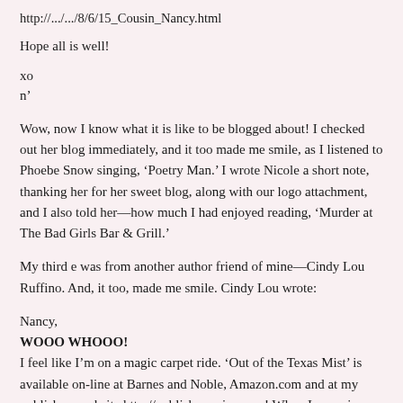http://.../.../8/6/15_Cousin_Nancy.html
Hope all is well!
xo
n’
Wow, now I know what it is like to be blogged about! I checked out her blog immediately, and it too made me smile, as I listened to Phoebe Snow singing, ‘Poetry Man.’ I wrote Nicole a short note, thanking her for her sweet blog, along with our logo attachment, and I also told her—how much I had enjoyed reading, ‘Murder at The Bad Girls Bar & Grill.’
My third e was from another author friend of mine—Cindy Lou Ruffino. And, it too, made me smile. Cindy Lou wrote:
Nancy,
WOOO WHOOO!
I feel like I’m on a magic carpet ride. ‘Out of the Texas Mist’ is available on-line at Barnes and Noble, Amazon.com and at my publishers website http://publishamerica.com! When I came in